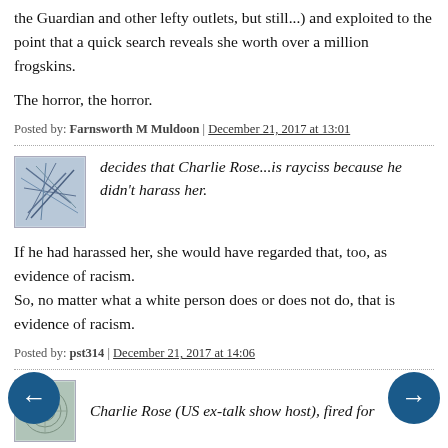the Guardian and other lefty outlets, but still...) and exploited to the point that a quick search reveals she worth over a million frogskins.
The horror, the horror.
Posted by: Farnsworth M Muldoon | December 21, 2017 at 13:01
[Figure (illustration): Avatar image with abstract lines on blue-grey background]
decides that Charlie Rose...is rayciss because he didn't harass her.
If he had harassed her, she would have regarded that, too, as evidence of racism.
So, no matter what a white person does or does not do, that is evidence of racism.
Posted by: pst314 | December 21, 2017 at 14:06
[Figure (illustration): Avatar image with circular pattern on grey-green background]
Charlie Rose (US ex-talk show host), fired for